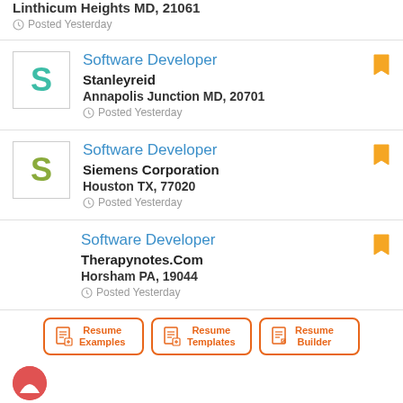Linthicum Heights MD, 21061
Posted Yesterday
Software Developer — Stanleyreid — Annapolis Junction MD, 20701 — Posted Yesterday
Software Developer — Siemens Corporation — Houston TX, 77020 — Posted Yesterday
Software Developer — Therapynotes.Com — Horsham PA, 19044 — Posted Yesterday
Resume Examples | Resume Templates | Resume Builder